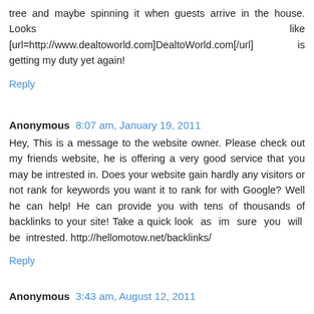tree and maybe spinning it when guests arrive in the house. Looks like [url=http://www.dealtoworld.com]DealtoWorld.com[/url] is getting my duty yet again!
Reply
Anonymous  8:07 am, January 19, 2011
Hey, This is a message to the website owner. Please check out my friends website, he is offering a very good service that you may be intrested in. Does your website gain hardly any visitors or not rank for keywords you want it to rank for with Google? Well he can help! He can provide you with tens of thousands of backlinks to your site! Take a quick look as im sure you will be intrested. http://hellomotow.net/backlinks/
Reply
Anonymous  3:43 am, August 12, 2011